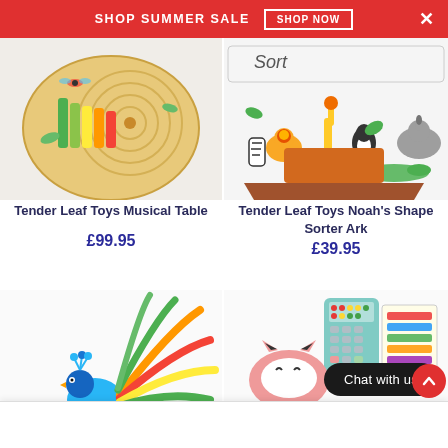SHOP SUMMER SALE  SHOP NOW  ×
[Figure (photo): Tender Leaf Toys Musical Table — wooden activity toy with xylophone and maze]
Tender Leaf Toys Musical Table
£99.95
[Figure (photo): Tender Leaf Toys Noah's Shape Sorter Ark — wooden ark with animal figurines]
Tender Leaf Toys Noah's Shape Sorter Ark
£39.95
[Figure (photo): Colourful wooden peacock stacking toy]
[Figure (photo): Children's play card reader / shop toy set with fox wallet and sticker cards]
Chat with us